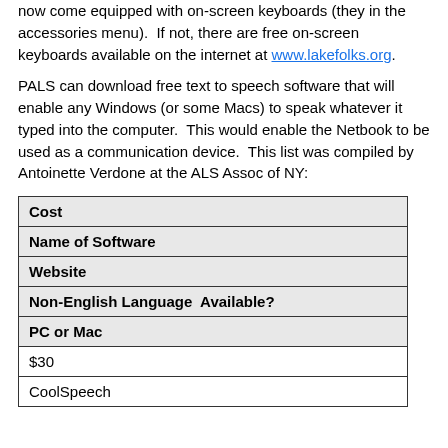now come equipped with on-screen keyboards (they in the accessories menu).  If not, there are free on-screen keyboards available on the internet at www.lakefolks.org.
PALS can download free text to speech software that will enable any Windows (or some Macs) to speak whatever it typed into the computer.  This would enable the Netbook to be used as a communication device.  This list was compiled by Antoinette Verdone at the ALS Assoc of NY:
| Cost | Name of Software | Website | Non-English Language  Available? | PC or Mac |
| --- | --- | --- | --- | --- |
| $30 |
| CoolSpeech |